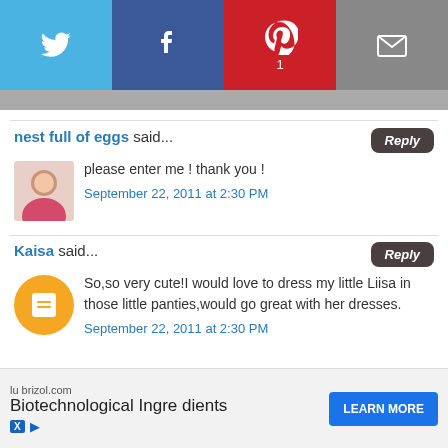[Figure (screenshot): Social share bar with Twitter (blue), Facebook (dark blue), Pinterest (red, badge 1), and Email (gray) buttons]
nest full of eggs said... please enter me ! thank you ! September 22, 2011 at 2:30 PM
Kaisa said... So,so very cute!I would love to dress my little Liisa in those little panties,would go great with her dresses. September 22, 2011 at 2:30 PM
Sarah and Chris said...
[Figure (screenshot): Advertisement banner: lubrizol.com - Biotechnological Ingredients - LEARN MORE button]